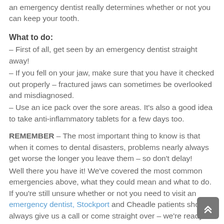an emergency dentist really determines whether or not you can keep your tooth.
What to do:
– First of all, get seen by an emergency dentist straight away!
– If you fell on your jaw, make sure that you have it checked out properly – fractured jaws can sometimes be overlooked and misdiagnosed.
– Use an ice pack over the sore areas. It's also a good idea to take anti-inflammatory tablets for a few days too.
REMEMBER – The most important thing to know is that when it comes to dental disasters, problems nearly always get worse the longer you leave them – so don't delay! Well there you have it! We've covered the most common emergencies above, what they could mean and what to do. If you're still unsure whether or not you need to visit an emergency dentist, Stockport and Cheadle patients should always give us a call or come straight over – we're ready and waiting to help, even after hours.
If you're in too much pain and can't think straight, get a family